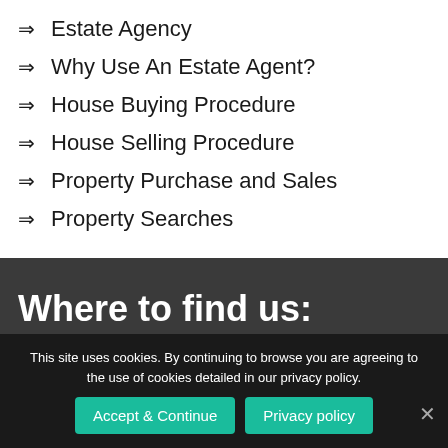Estate Agency
Why Use An Estate Agent?
House Buying Procedure
House Selling Procedure
Property Purchase and Sales
Property Searches
Where to find us:
This site uses cookies. By continuing to browse you are agreeing to the use of cookies detailed in our privacy policy.